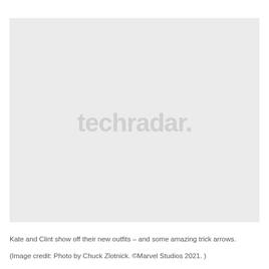[Figure (photo): A placeholder image with a light gray background and the 'techradar.' logo watermark centered in the middle, representing a photo of Kate and Clint showing off their new outfits and trick arrows.]
Kate and Clint show off their new outfits – and some amazing trick arrows.

(Image credit: Photo by Chuck Zlotnick. ©Marvel Studios 2021. )